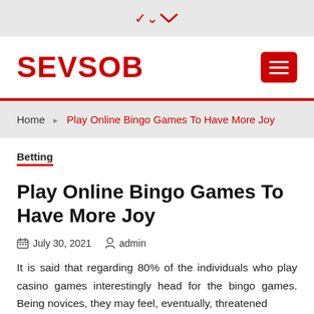[Figure (other): Top navigation bar with downward chevron arrow on gray background]
SEVSOB
Home › Play Online Bingo Games To Have More Joy
Betting
Play Online Bingo Games To Have More Joy
July 30, 2021   admin
It is said that regarding 80% of the individuals who play casino games interestingly head for the bingo games. Being novices, they may feel, eventually, threatened with lots of rules. With time though, one can differentiate